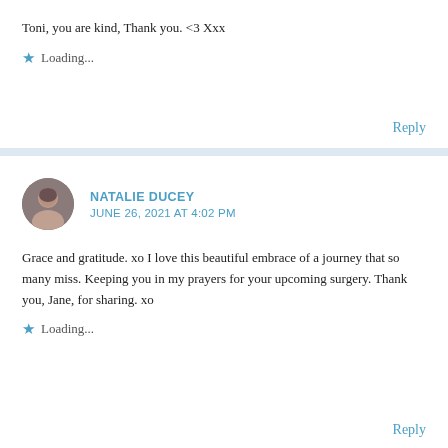Toni, you are kind, Thank you. <3 Xxx
Loading...
Reply
NATALIE DUCEY
JUNE 26, 2021 AT 4:02 PM
Grace and gratitude. xo I love this beautiful embrace of a journey that so many miss. Keeping you in my prayers for your upcoming surgery. Thank you, Jane, for sharing. xo
Loading...
Reply